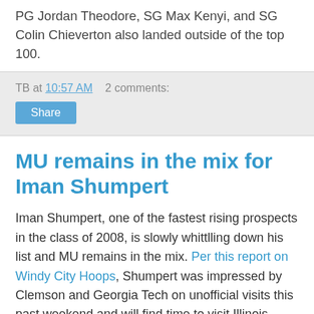PG Jordan Theodore, SG Max Kenyi, and SG Colin Chieverton also landed outside of the top 100.
TB at 10:57 AM   2 comments:
Share
MU remains in the mix for Iman Shumpert
Iman Shumpert, one of the fastest rising prospects in the class of 2008, is slowly whittlling down his list and MU remains in the mix. Per this report on Windy City Hoops, Shumpert was impressed by Clemson and Georgia Tech on unofficial visits this past weekend and will find time to visit Illinois, Bradley and Notre Dame in the next month. After that, Shumpert will pare down his list and schedule five official visits.
Specific to MU, Shumpert offered this: “The Big East is